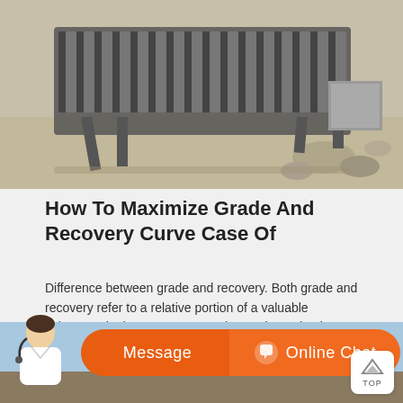[Figure (photo): Industrial conveyor or shaker table machinery on a sandy/gravel surface, photographed outdoors]
How To Maximize Grade And Recovery Curve Case Of
Difference between grade and recovery. Both grade and recovery refer to a relative portion of a valuable substance in the ore. However, the grade portion is compared to the entire amount of the ore in contrast, the percentage recovered is compared only to the amount of valuable substance in the feed martial before the concentration.
[Figure (photo): Outdoor mining or ore processing scene with blue sky, partially visible at bottom of page]
Message
Online Chat